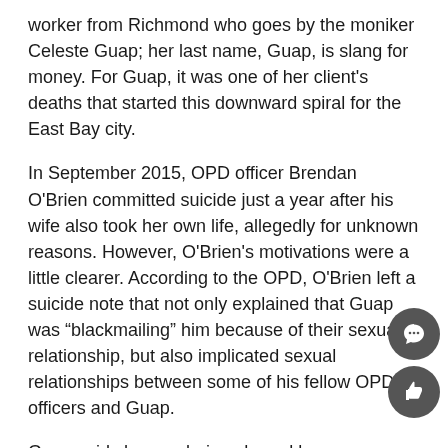worker from Richmond who goes by the moniker Celeste Guap; her last name, Guap, is slang for money. For Guap, it was one of her client's deaths that started this downward spiral for the East Bay city.
In September 2015, OPD officer Brendan O'Brien committed suicide just a year after his wife also took her own life, allegedly for unknown reasons. However, O'Brien's motivations were a little clearer. According to the OPD, O'Brien left a suicide note that not only explained that Guap was “blackmailing” him because of their sexual relationship, but also implicated sexual relationships between some of his fellow OPD officers and Guap.
Guap said she was being chased by a pimp on International Boulevard in East Oakland a few years ago when she first met O’Brien. He saw her and “rescued” her.